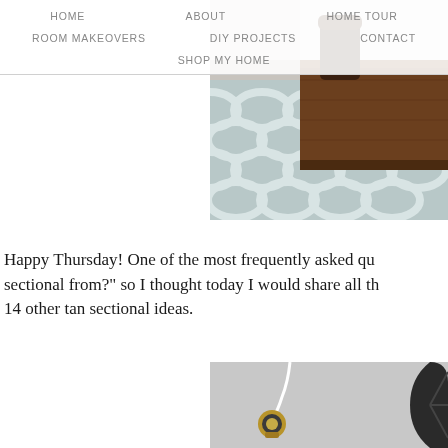HOME   ABOUT   HOME TOUR   ROOM MAKEOVERS   DIY PROJECTS   CONTACT   SHOP MY HOME
[Figure (photo): Close-up photo of a light blue geometric patterned rug with a wooden tray and dark furniture leg visible]
Happy Thursday! One of the most frequently asked qu... sectional from?" so I thought today I would share all th... 14 other tan sectional ideas.
[Figure (photo): Photo of a gold/brass industrial lamp with white cord against a grey background, with part of a dark circular object visible on the right]